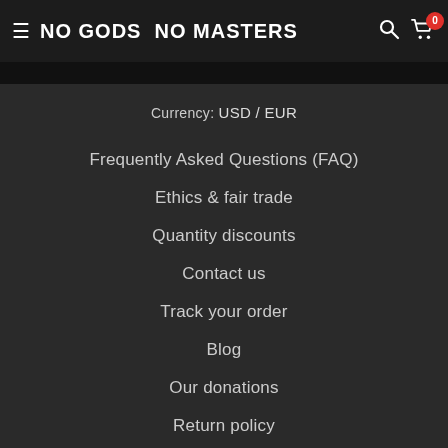NO GODS NO MASTERS
Currency: USD / EUR
Frequently Asked Questions (FAQ)
Ethics & fair trade
Quantity discounts
Contact us
Track your order
Blog
Our donations
Return policy
Announcements